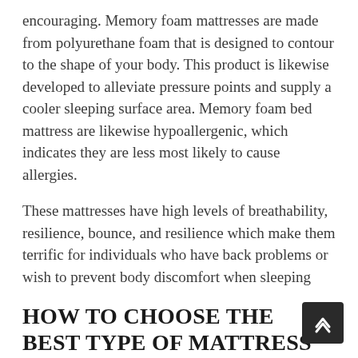encouraging. Memory foam mattresses are made from polyurethane foam that is designed to contour to the shape of your body. This product is likewise developed to alleviate pressure points and supply a cooler sleeping surface area. Memory foam bed mattress are likewise hypoallergenic, which indicates they are less most likely to cause allergies.
These mattresses have high levels of breathability, resilience, bounce, and resilience which make them terrific for individuals who have back problems or wish to prevent body discomfort when sleeping
HOW TO CHOOSE THE BEST TYPE OF MATTRESS FOR YOUR SLEEP NEEDS?
The very best kind of mattress for your sleep requires is one that supplies the right balance of assistance and comfort.